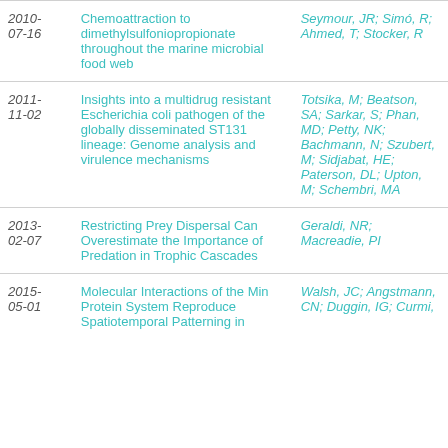| Date | Title | Authors |
| --- | --- | --- |
| 2010-07-16 | Chemoattraction to dimethylsulfoniopropionate throughout the marine microbial food web | Seymour, JR; Simó, R; Ahmed, T; Stocker, R |
| 2011-11-02 | Insights into a multidrug resistant Escherichia coli pathogen of the globally disseminated ST131 lineage: Genome analysis and virulence mechanisms | Totsika, M; Beatson, SA; Sarkar, S; Phan, MD; Petty, NK; Bachmann, N; Szubert, M; Sidjabat, HE; Paterson, DL; Upton, M; Schembri, MA |
| 2013-02-07 | Restricting Prey Dispersal Can Overestimate the Importance of Predation in Trophic Cascades | Geraldi, NR; Macreadie, PI |
| 2015-05-01 | Molecular Interactions of the Min Protein System Reproduce Spatiotemporal Patterning in | Walsh, JC; Angstmann, CN; Duggin, IG; Curmi, |